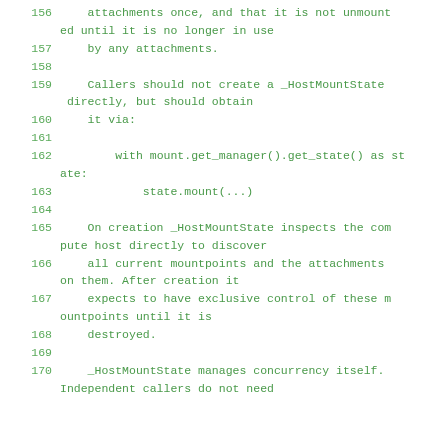156    attachments once, and that it is not unmounted until it is no longer in use
157    by any attachments.
158
159    Callers should not create a _HostMountState directly, but should obtain
160    it via:
161
162        with mount.get_manager().get_state() as state:
163            state.mount(...)
164
165    On creation _HostMountState inspects the compute host directly to discover
166    all current mountpoints and the attachments on them. After creation it
167    expects to have exclusive control of these mountpoints until it is
168    destroyed.
169
170    _HostMountState manages concurrency itself. Independent callers do not need